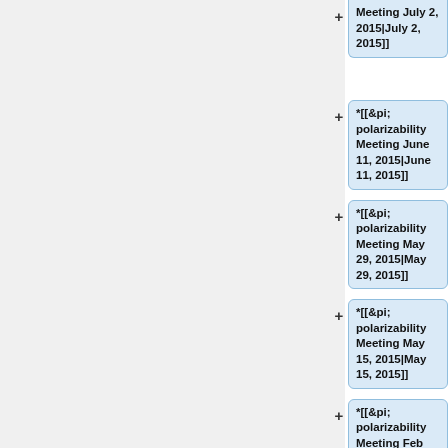Meeting July 2, 2015|July 2, 2015]]
*[[&pi; polarizability Meeting June 11, 2015|June 11, 2015]]
*[[&pi; polarizability Meeting May 29, 2015|May 29, 2015]]
*[[&pi; polarizability Meeting May 15, 2015|May 15, 2015]]
*[[&pi; polarizability Meeting Feb 16, 2014|Feb 16, 2015]]